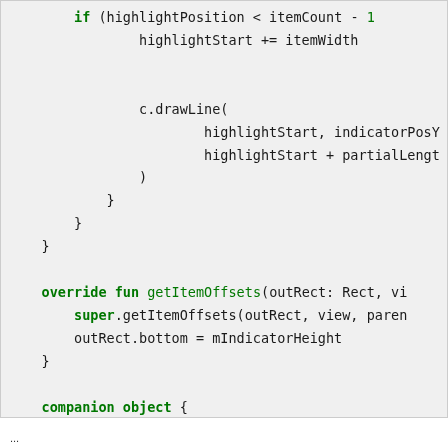[Figure (screenshot): Code block showing Kotlin source code with syntax highlighting. Contains a conditional block updating highlightStart, a c.drawLine() call, closing braces, override fun getItemOffsets function, super.getItemOffsets call, outRect.bottom assignment, companion object block with private val DP assignment.]
...